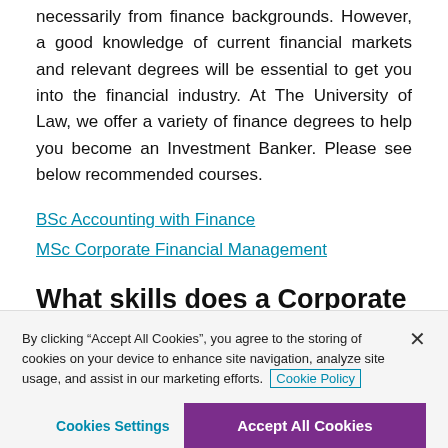necessarily from finance backgrounds. However, a good knowledge of current financial markets and relevant degrees will be essential to get you into the financial industry. At The University of Law, we offer a variety of finance degrees to help you become an Investment Banker. Please see below recommended courses.
BSc Accounting with Finance
MSc Corporate Financial Management
What skills does a Corporate Investment Banker need?
By clicking "Accept All Cookies", you agree to the storing of cookies on your device to enhance site navigation, analyze site usage, and assist in our marketing efforts. Cookie Policy
Cookies Settings | Accept All Cookies